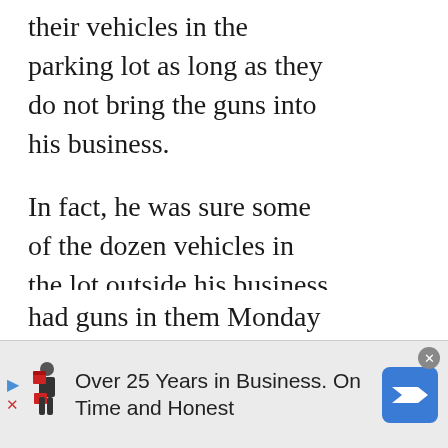their vehicles in the parking lot as long as they do not bring the guns into his business.
In fact, he was sure some of the dozen vehicles in the lot outside his business had guns in them Monday afternoon.
“I can’t control what
[Figure (other): Advertisement banner: Over 25 Years in Business. On Time and Honest, with a person carrying red boxes icon and a blue road sign arrow icon.]